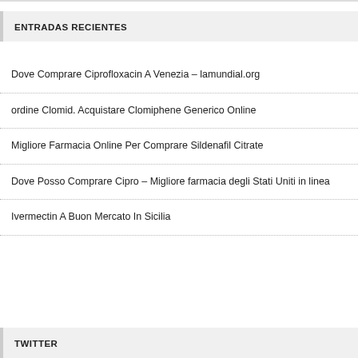ENTRADAS RECIENTES
Dove Comprare Ciprofloxacin A Venezia – lamundial.org
ordine Clomid. Acquistare Clomiphene Generico Online
Migliore Farmacia Online Per Comprare Sildenafil Citrate
Dove Posso Comprare Cipro – Migliore farmacia degli Stati Uniti in linea
Ivermectin A Buon Mercato In Sicilia
TWITTER